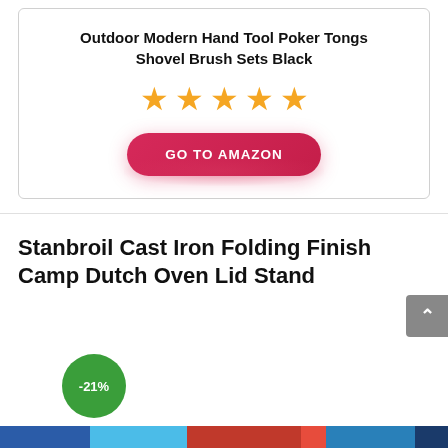Outdoor Modern Hand Tool Poker Tongs Shovel Brush Sets Black
[Figure (other): Five orange star rating icons displayed in a row]
[Figure (other): Red pill-shaped button with white text reading GO TO AMAZON]
Stanbroil Cast Iron Folding Finish Camp Dutch Oven Lid Stand
[Figure (other): Green circular badge showing -21% discount]
Social media share bar at bottom of page